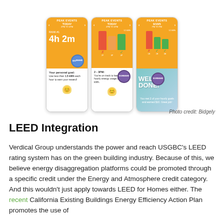[Figure (screenshot): Three mobile app screenshots showing a Peak Events energy monitoring interface from Bidgely. Left screen shows a countdown of 4h 2m with a personal goal to use less than 1.5 kWh each hour. Middle screen shows bar charts for 2-3PM energy tracking with a $10 reward medal. Right screen shows completed hourly goals with a 'WELL DONE!' message and $10 reward for meeting 2 hourly goals.]
Photo credit: Bidgely
LEED Integration
Verdical Group understands the power and reach USGBC's LEED rating system has on the green building industry. Because of this, we believe energy disaggregation platforms could be promoted through a specific credit under the Energy and Atmosphere credit category. And this wouldn't just apply towards LEED for Homes either. The recent California Existing Buildings Energy Efficiency Action Plan promotes the use of platforms like that. Energy and other elements are there.